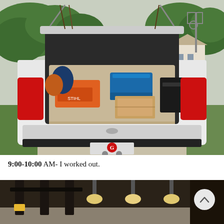[Figure (photo): Rear view of a white SUV (Toyota 4Runner or similar) parked in a driveway with the rear hatch open, loaded with various cargo including an orange chainsaw/equipment, a blue cooler, cardboard boxes, black cases, and fishing rods. Green trees and a house are visible in the background. The vehicle has a University of Georgia 'G' logo on the hitch cover.]
9:00-10:00 AM- I worked out.
[Figure (photo): Partial bottom photo showing what appears to be a gym or staircase interior with dark railings, concrete floor, and hanging lights. Only the top portion is visible.]